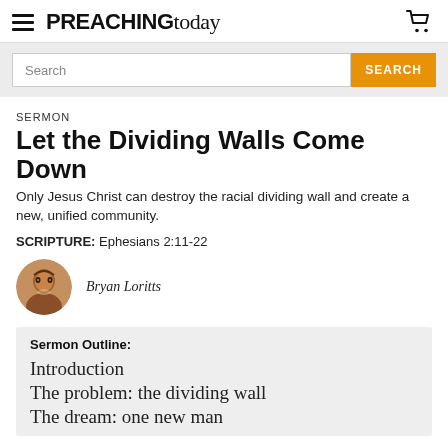PREACHING today
Search
SERMON
Let the Dividing Walls Come Down
Only Jesus Christ can destroy the racial dividing wall and create a new, unified community.
SCRIPTURE: Ephesians 2:11-22
Bryan Loritts
Sermon Outline:
Introduction
The problem: the dividing wall
The dream: one new man